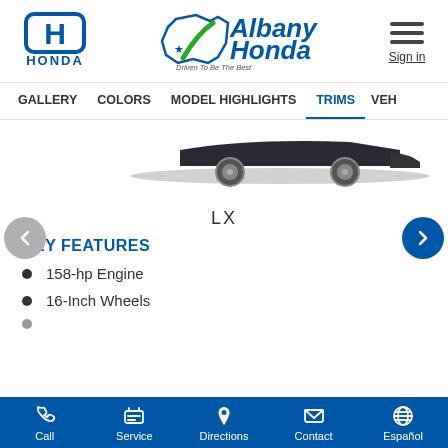[Figure (logo): Honda logo — blue H emblem with HONDA text below]
[Figure (logo): Albany Honda dealership logo — stylized text with Georgia state outline, star, green road, tagline 'Driven To Be The Best']
[Figure (other): Hamburger menu icon (three horizontal lines) with Sign in link below]
GALLERY   COLORS   MODEL HIGHLIGHTS   TRIMS   VEH...
[Figure (photo): Partial view of a Honda vehicle — bottom portion showing wheels and lower body against white background]
LX
KEY FEATURES
158-hp Engine
16-Inch Wheels
Call   Service   Directions   Contact   Español